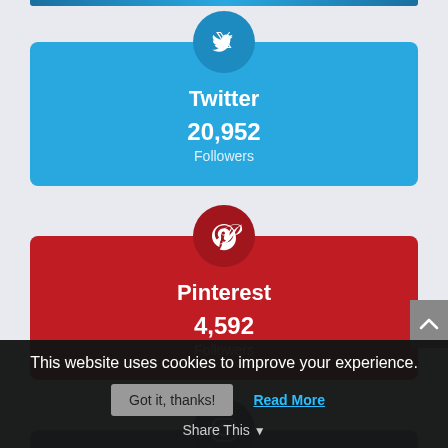[Figure (infographic): Twitter social media followers card with blue background, Twitter bird icon in circle, showing 20,952 Followers]
[Figure (infographic): Pinterest social media followers card with red background, Pinterest P icon in circle, showing 4,592 Followers]
[Figure (infographic): Instagram social media followers card with steel blue background, Instagram camera icon in circle, showing 2,037 Followers]
This website uses cookies to improve your experience.
Got it, thanks!
Read More
Share This